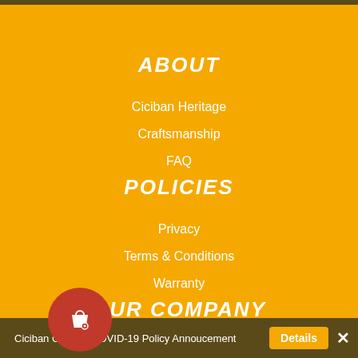ABOUT
Ciciban Heritage
Craftsmanship
FAQ
POLICIES
Privacy
Terms & Conditions
Warranty
OUR COMPANY
Careers
Ciciban Canada COVID-19 Policy Annoucement  Details  ×